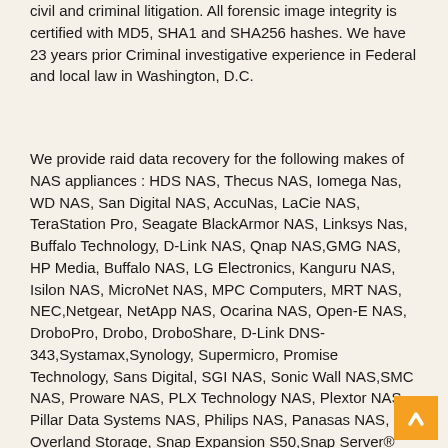civil and criminal litigation. All forensic image integrity is certified with MD5, SHA1 and SHA256 hashes. We have 23 years prior Criminal investigative experience in Federal and local law in Washington, D.C.
We provide raid data recovery for the following makes of NAS appliances : HDS NAS, Thecus NAS, Iomega Nas, WD NAS, San Digital NAS, AccuNas, LaCie NAS, TeraStation Pro, Seagate BlackArmor NAS, Linksys Nas, Buffalo Technology, D-Link NAS, Qnap NAS,GMG NAS, HP Media, Buffalo NAS, LG Electronics, Kanguru NAS, Isilon NAS, MicroNet NAS, MPC Computers, MRT NAS, NEC,Netgear, NetApp NAS, Ocarina NAS, Open-E NAS, DroboPro, Drobo, DroboShare, D-Link DNS-343,Systamax,Synology, Supermicro, Promise Technology, Sans Digital, SGI NAS, Sonic Wall NAS,SMC NAS, Proware NAS, PLX Technology NAS, Plextor NAS, Pillar Data Systems NAS, Philips NAS, Panasas NAS, Overland Storage, Snap Expansion S50,Snap Server® 210, Snap Server® 410,Storango SSTE-1NAS00,Storango SSTE-2NAS10,Storage Central, ReadyNAS Duo, ReadyNAS NVX, ReadyNAS NV+, ReadyNAS Pro Pioneer, TEAC NAS, Tranquil NAS, Trendnet NAS, T-Com in addition to all other Raid NAS Servers.